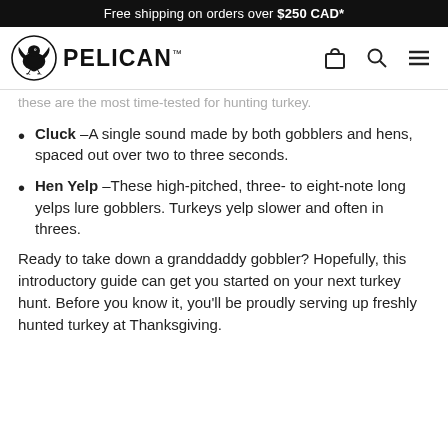Free shipping on orders over $250 CAD*
PELICAN
these are the most time-tested for hunting turkey.
Cluck – A single sound made by both gobblers and hens, spaced out over two to three seconds.
Hen Yelp – These high-pitched, three- to eight-note long yelps lure gobblers. Turkeys yelp slower and often in threes.
Ready to take down a granddaddy gobbler? Hopefully, this introductory guide can get you started on your next turkey hunt. Before you know it, you'll be proudly serving up freshly hunted turkey at Thanksgiving.